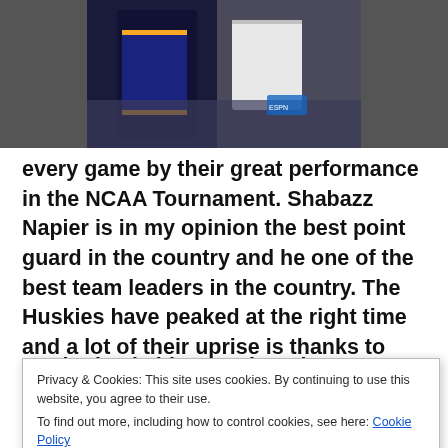[Figure (photo): Two basketball players during an NCAA Tournament game, one in a dark blue/black jersey and one in a light/white jersey, with crowd in background]
every game by their great performance in the NCAA Tournament. Shabazz Napier is in my opinion the best point guard in the country and he one of the best team leaders in the country. The Huskies have peaked at the right time and a lot of their uprise is thanks to Napier. Napier leads his team in points, assists, and rebounds
Privacy & Cookies: This site uses cookies. By continuing to use this website, you agree to their use.
To find out more, including how to control cookies, see here: Cookie Policy
duo and they are going to be a lot to handle for the Iowa